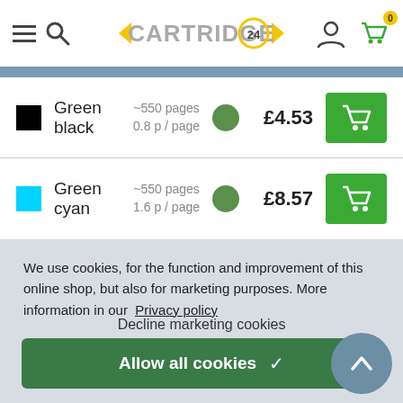[Figure (screenshot): Cartridge24 website header with hamburger menu, search icon, Cartridge24 logo, user icon, and shopping cart with 0 badge]
Green black   ~550 pages  0.8 p / page   £4.53
Green cyan   ~550 pages  1.6 p / page   £8.57
We use cookies, for the function and improvement of this online shop, but also for marketing purposes. More information in our Privacy policy
Decline marketing cookies
Allow all cookies ✓